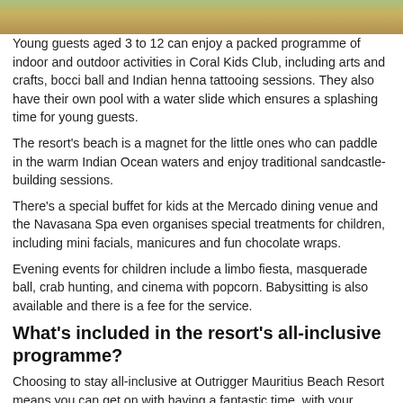[Figure (photo): Partial photo strip at top of page showing outdoor/food scene]
Young guests aged 3 to 12 can enjoy a packed programme of indoor and outdoor activities in Coral Kids Club, including arts and crafts, bocci ball and Indian henna tattooing sessions. They also have their own pool with a water slide which ensures a splashing time for young guests.
The resort's beach is a magnet for the little ones who can paddle in the warm Indian Ocean waters and enjoy traditional sandcastle-building sessions.
There's a special buffet for kids at the Mercado dining venue and the Navasana Spa even organises special treatments for children, including mini facials, manicures and fun chocolate wraps.
Evening events for children include a limbo fiesta, masquerade ball, crab hunting, and cinema with popcorn. Babysitting is also available and there is a fee for the service.
What's included in the resort's all-inclusive programme?
Choosing to stay all-inclusive at Outrigger Mauritius Beach Resort means you can get on with having a fantastic time, with your meals, drinks and use of various amenities already paid for in advance.
Your breakfasts, lunches and dinners will be included in the resort's superb dining venues and free-flowing beverages from 10am to 11pm will include selected wines, cocktails, signature drinks, local beers, juices, tea, coffee, soft drinks, water and spirits.